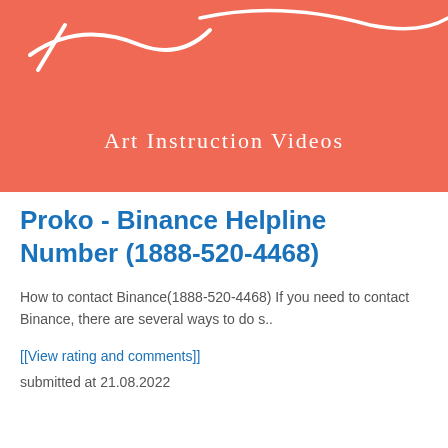[Figure (illustration): Red/coral banner with white handwritten-style text reading 'Art Instruction Videos' and decorative squiggle strokes at the top]
Proko - Binance Helpline Number (1888-520-4468)
How to contact Binance(1888-520-4468) If you need to contact Binance, there are several ways to do s..
[[View rating and comments]]
submitted at 21.08.2022